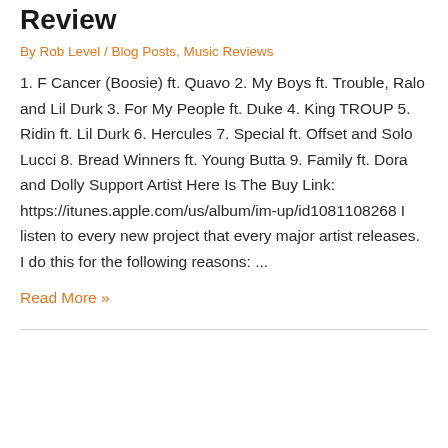Young Thug Im Up Queen Album Review
By Rob Level / Blog Posts, Music Reviews
1. F Cancer (Boosie) ft. Quavo 2. My Boys ft. Trouble, Ralo and Lil Durk 3. For My People ft. Duke 4. King TROUP 5. Ridin ft. Lil Durk 6. Hercules 7. Special ft. Offset and Solo Lucci 8. Bread Winners ft. Young Butta 9. Family ft. Dora and Dolly Support Artist Here Is The Buy Link: https://itunes.apple.com/us/album/im-up/id1081108268 I listen to every new project that every major artist releases. I do this for the following reasons: ...
Read More »